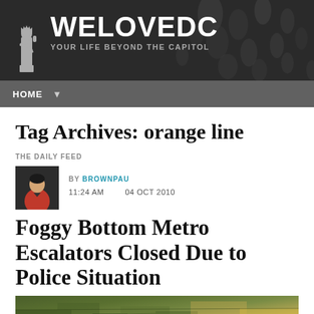WELOVEDC — YOUR LIFE BEYOND THE CAPITOL
Tag Archives: orange line
THE DAILY FEED
BY BROWNPAU  11:24 AM  04 OCT 2010
Foggy Bottom Metro Escalators Closed Due to Police Situation
[Figure (photo): Aerial or street-level photo of urban area, greenish tones, possibly DC street scene]